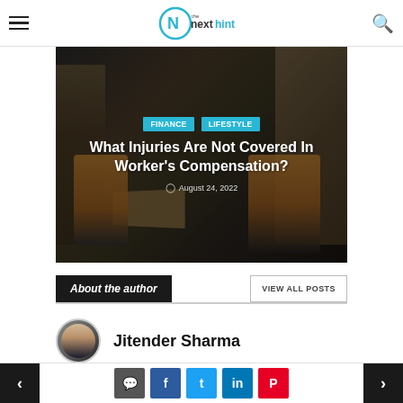The Next Hint — navigation header with hamburger menu and search icon
[Figure (photo): Warehouse scene with workers in orange vests, one injured worker on the floor being assisted, with shelving and boxes in background. Overlaid with category tags FINANCE and LIFESTYLE, article title 'What Injuries Are Not Covered In Worker's Compensation?' and date August 24, 2022.]
What Injuries Are Not Covered In Worker's Compensation?
August 24, 2022
About the author
VIEW ALL POSTS
Jitender Sharma
Navigation arrows and social share buttons: comment, Facebook, Twitter, LinkedIn, Pinterest